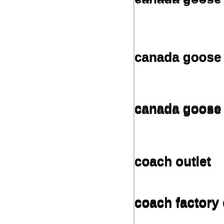canada goose out
canada goose jac
canada goose cyb
coach outlet
coach factory out
coach outlet
ray ban sunglasse